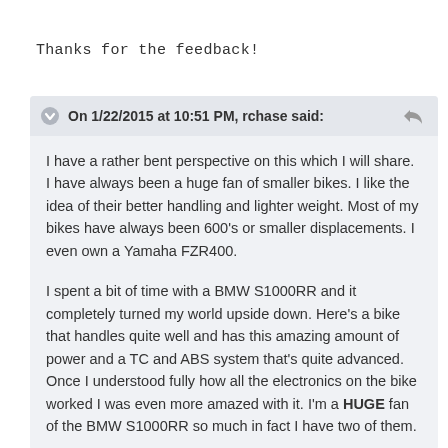Thanks for the feedback!
On 1/22/2015 at 10:51 PM, rchase said:
I have a rather bent perspective on this which I will share. I have always been a huge fan of smaller bikes. I like the idea of their better handling and lighter weight. Most of my bikes have always been 600's or smaller displacements. I even own a Yamaha FZR400.
I spent a bit of time with a BMW S1000RR and it completely turned my world upside down. Here's a bike that handles quite well and has this amazing amount of power and a TC and ABS system that's quite advanced. Once I understood fully how all the electronics on the bike worked I was even more amazed with it. I'm a HUGE fan of the BMW S1000RR so much in fact I have two of them.